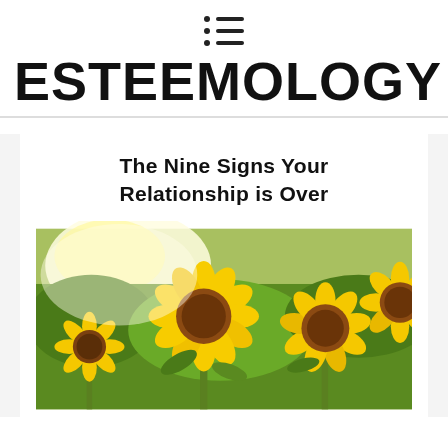≡ (menu icon)
ESTEEMOLOGY
The Nine Signs Your Relationship is Over
[Figure (photo): A field of sunflowers in bright sunlight, with large yellow sunflowers with brown centers in the foreground and green foliage in the background.]